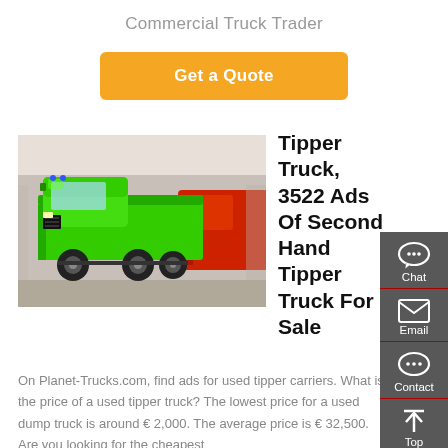Commercial Truck Trader
Get a Quote
[Figure (photo): Green tipper/dump truck on display in an exhibition hall]
Tipper Truck, 3522 Ads Of Second Hand Tipper Truck For Sale
On Planet-Trucks.com, find ads for used tipper carriers. What is the price of a used tipper truck? The lowest price for a used dump truck is around € 2,000. The average price is € 32,500. Are you looking for the cheapest